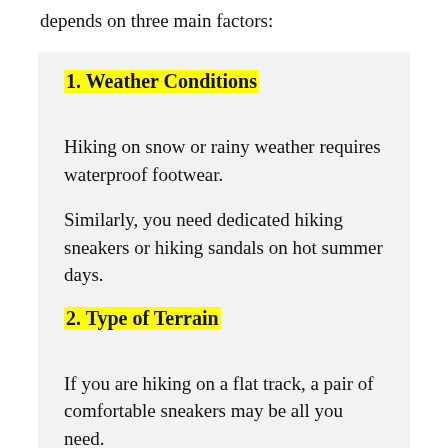depends on three main factors:
1. Weather Conditions
Hiking on snow or rainy weather requires waterproof footwear.
Similarly, you need dedicated hiking sneakers or hiking sandals on hot summer days.
2. Type of Terrain
If you are hiking on a flat track, a pair of comfortable sneakers may be all you need.
However, once you build elevation and the